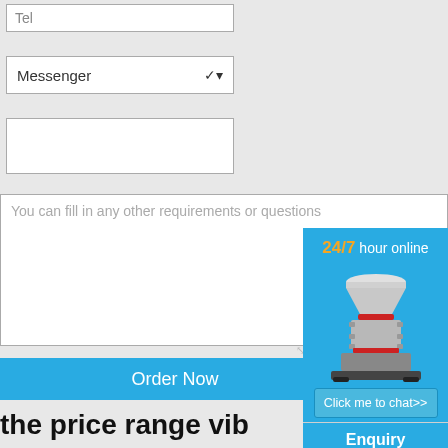Tel
Messenger ▾
You can fill in any other requirements or questions
Order Now
[Figure (infographic): Blue sidebar widget showing '24/7 hour online' text in yellow/white, an image of a cone crusher machine, a 'Click me to chat>>' button, an 'Enquiry' section, and 'limingjlmofen' text at the bottom]
the price range vib sieve